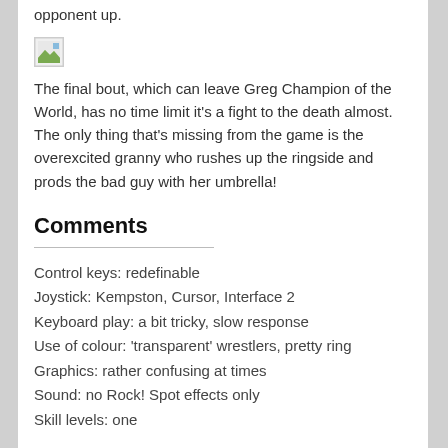opponent up.
[Figure (illustration): Broken/missing image placeholder icon]
The final bout, which can leave Greg Champion of the World, has no time limit it's a fight to the death almost. The only thing that's missing from the game is the overexcited granny who rushes up the ringside and prods the bad guy with her umbrella!
Comments
Control keys: redefinable
Joystick: Kempston, Cursor, Interface 2
Keyboard play: a bit tricky, slow response
Use of colour: 'transparent' wrestlers, pretty ring
Graphics: rather confusing at times
Sound: no Rock! Spot effects only
Skill levels: one